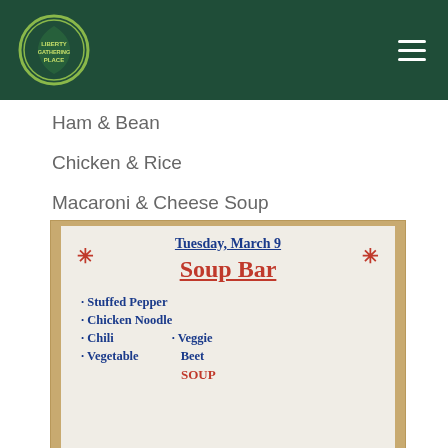Liberty Gathering Place logo and navigation
Ham & Bean
Chicken & Rice
Macaroni & Cheese Soup
[Figure (photo): A whiteboard sign reading 'Tuesday, March 9 - Soup Bar' with items: Stuffed Pepper, Chicken Noodle, Chili, Vegetable, Veggie Beet Soup listed in blue and red handwriting.]